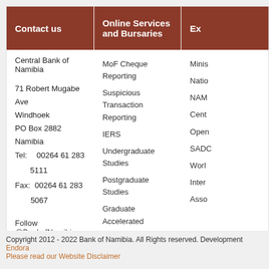Contact us
Central Bank of Namibia
71 Robert Mugabe Ave
Windhoek
PO Box 2882 Namibia
Tel:   00264 61 283 5111
Fax:  00264 61 283 5067
Follow @BankofNamibia
Online Services and Bursaries
MoF Cheque Reporting
Suspicious Transaction Reporting
IERS
Undergraduate Studies
Postgraduate Studies
Graduate Accelerated Program (GAP)
Applications
Customer Complaints Form
Foreign Exchange Reporting
Ex…
Minis…
Natio…
NAMr…
Cent…
Open…
SADC…
Worl…
Inter…
Asso…
Copyright 2012 - 2022 Bank of Namibia. All Rights reserved. Development Endora
Please read our Website Disclaimer